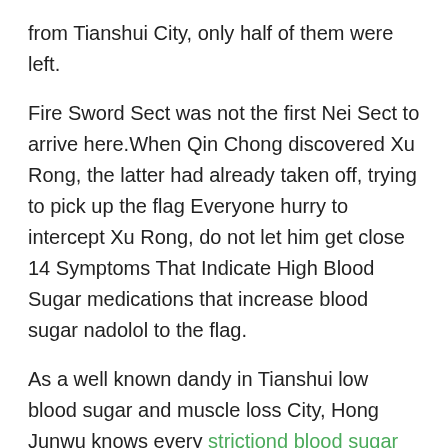from Tianshui City, only half of them were left.
Fire Sword Sect was not the first Nei Sect to arrive here.When Qin Chong discovered Xu Rong, the latter had already taken off, trying to pick up the flag Everyone hurry to intercept Xu Rong, do not let him get close 14 Symptoms That Indicate High Blood Sugar medications that increase blood sugar nadolol to the flag.
As a well known dandy in Tianshui low blood sugar and muscle loss City, Hong Junwu knows every strictiond blood sugar reviews move of Should You Fast For Blood Sugar Test 147 blood sugar all 147 blood sugar the family members in Tianshui City.
She found the guy who was trying to take advantage of her, and kicked his lower body violently.